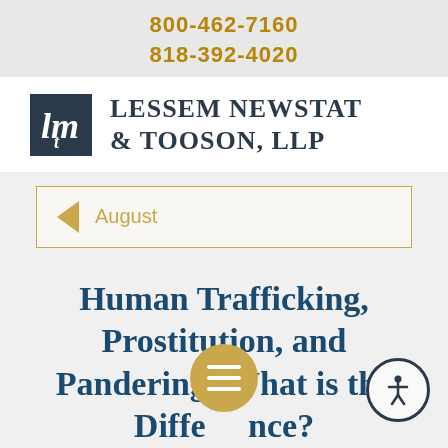800-462-7160
818-392-4020
[Figure (logo): Lessem Newstat & Tooson LLP law firm logo with stylized lmt monogram in dark navy square]
August
Human Trafficking, Prostitution, and Pandering: What is the Difference?
August 2014